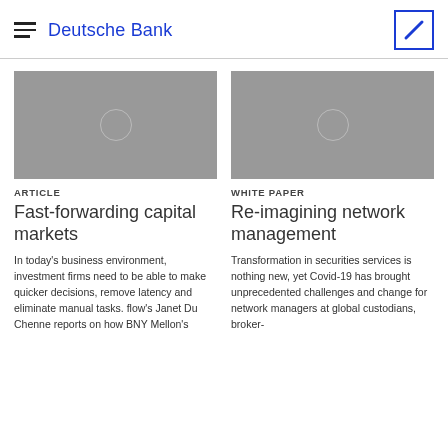Deutsche Bank
[Figure (photo): Grey placeholder image with a circle icon for Article card]
ARTICLE
Fast-forwarding capital markets
In today's business environment, investment firms need to be able to make quicker decisions, remove latency and eliminate manual tasks. flow's Janet Du Chenne reports on how BNY Mellon's
[Figure (photo): Grey placeholder image with a circle icon for White Paper card]
WHITE PAPER
Re-imagining network management
Transformation in securities services is nothing new, yet Covid-19 has brought unprecedented challenges and change for network managers at global custodians, broker-